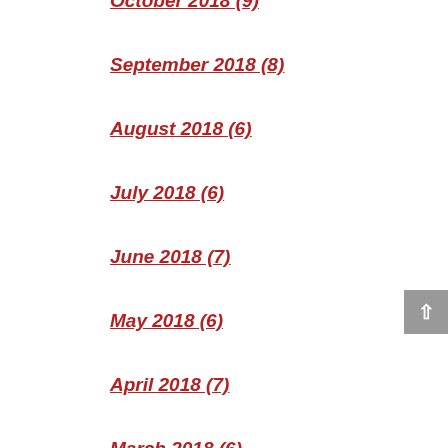October 2018 (9)
September 2018 (8)
August 2018 (6)
July 2018 (6)
June 2018 (7)
May 2018 (6)
April 2018 (7)
March 2018 (6)
February 2018 (7)
January 2018 (6)